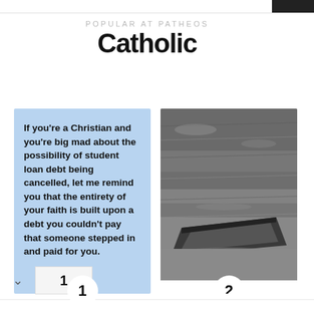POPULAR AT PATHEOS
Catholic
If you're a Christian and you're big mad about the possibility of student loan debt being cancelled, let me remind you that the entirety of your faith is built upon a debt you couldn't pay that someone stepped in and paid for you.
[Figure (photo): Black and white photograph of a small wooden boat partially submerged in water]
1  2